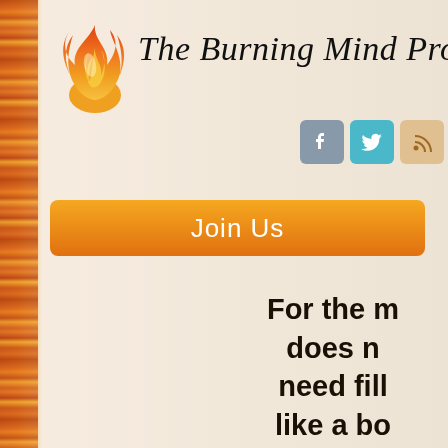[Figure (logo): The Burning Mind Project logo with flame icon and cursive site title]
[Figure (infographic): Social media icons: Facebook (grey), Twitter (teal), RSS (orange/tan)]
[Figure (other): Orange gradient 'Join Us' button]
For the m does n need fill like a bo but rath like woo only ne kindling create i an impul